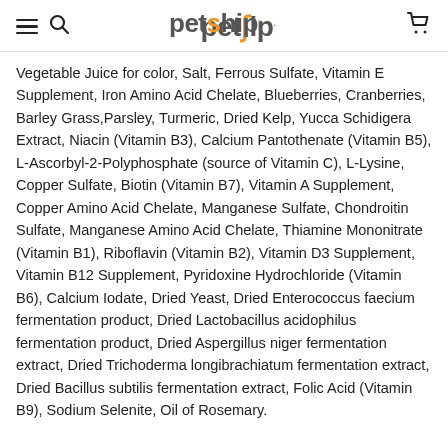petship. [navigation header with hamburger menu, search, and cart icons]
Vegetable Juice for color, Salt, Ferrous Sulfate, Vitamin E Supplement, Iron Amino Acid Chelate, Blueberries, Cranberries, Barley Grass, Parsley, Turmeric, Dried Kelp, Yucca Schidigera Extract, Niacin (Vitamin B3), Calcium Pantothenate (Vitamin B5), L-Ascorbyl-2-Polyphosphate (source of Vitamin C), L-Lysine, Copper Sulfate, Biotin (Vitamin B7), Vitamin A Supplement, Copper Amino Acid Chelate, Manganese Sulfate, Chondroitin Sulfate, Manganese Amino Acid Chelate, Thiamine Mononitrate (Vitamin B1), Riboflavin (Vitamin B2), Vitamin D3 Supplement, Vitamin B12 Supplement, Pyridoxine Hydrochloride (Vitamin B6), Calcium Iodate, Dried Yeast, Dried Enterococcus faecium fermentation product, Dried Lactobacillus acidophilus fermentation product, Dried Aspergillus niger fermentation extract, Dried Trichoderma longibrachiatum fermentation extract, Dried Bacillus subtilis fermentation extract, Folic Acid (Vitamin B9), Sodium Selenite, Oil of Rosemary.